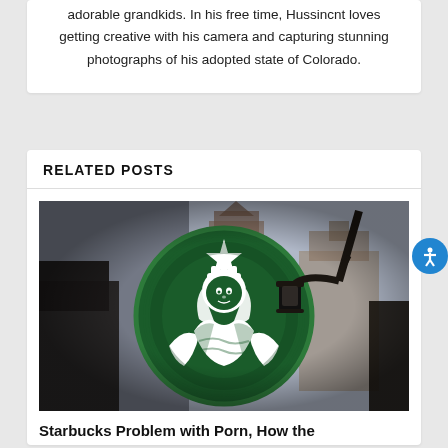adorable grandkids. In his free time, Hussinent loves getting creative with his camera and capturing stunning photographs of his adopted state of Colorado.
RELATED POSTS
[Figure (photo): Starbucks sign (circular green logo with white siren) hanging on a building facade with a black street lamp, European-style architecture with church towers in the background]
Starbucks Problem with Porn, How the